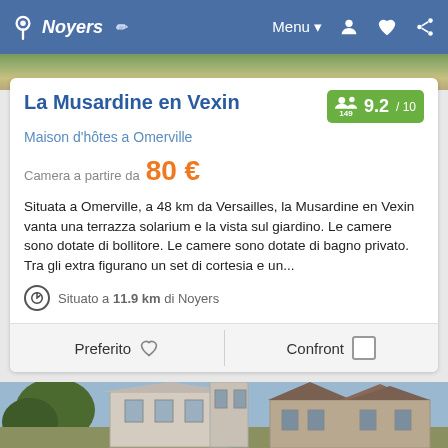Noyers  Menu
La Musardine en Vexin
9.2 / 10  149
Maison d'hôtes a Omerville
Camera a partire da  80 €
Situata a Omerville, a 48 km da Versailles, la Musardine en Vexin vanta una terrazza solarium e la vista sul giardino. Le camere sono dotate di bollitore. Le camere sono dotate di bagno privato. Tra gli extra figurano un set di cortesia e un...
Situato a 11.9 km di Noyers
Preferito
Confront
[Figure (photo): Exterior photo of La Musardine en Vexin showing stone buildings with sloped roofs and green trees]